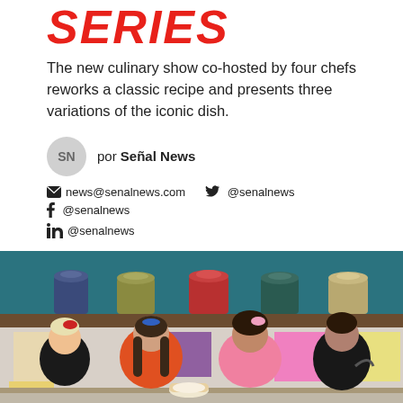SERIES
The new culinary show co-hosted by four chefs reworks a classic recipe and presents three variations of the iconic dish.
por Señal News
news@senalnews.com  @senalnews  @senalnews  @senalnews
[Figure (photo): Four female chefs posing together in a colorful cooking show kitchen set. Behind them is a teal wall with jars on a wooden shelf. The chefs are dressed colorfully — one in black with tattoos, one in orange, one in pink, and one in black leather jacket.]